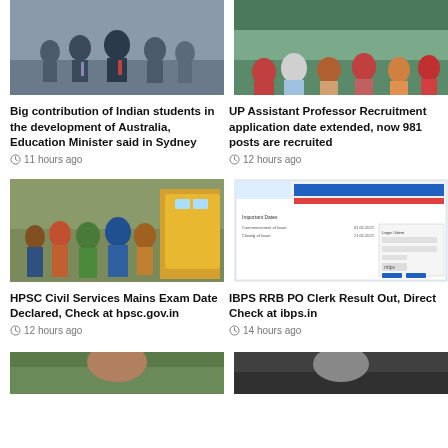[Figure (photo): Group of men in suits standing together]
[Figure (photo): Students sitting in a classroom viewed from behind]
Big contribution of Indian students in the development of Australia, Education Minister said in Sydney
11 hours ago
UP Assistant Professor Recruitment application date extended, now 981 posts are recruited
12 hours ago
[Figure (photo): Crowd of students walking outside, girls in colorful clothes]
[Figure (screenshot): Screenshot of IBPS website with exam registration form]
HPSC Civil Services Mains Exam Date Declared, Check at hpsc.gov.in
12 hours ago
IBPS RRB PO Clerk Result Out, Direct Check at ibps.in
14 hours ago
[Figure (photo): Person outdoors, partially visible at bottom]
[Figure (photo): Person, partially visible at bottom right]